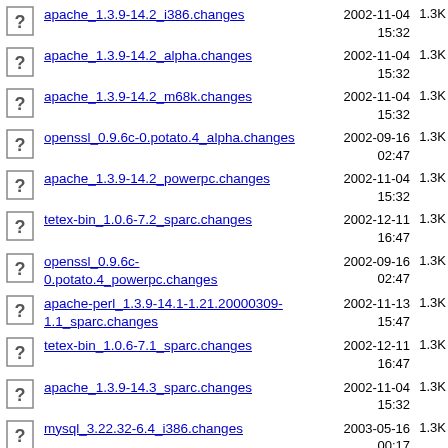apache_1.3.9-14.2_i386.changes  2002-11-04 15:32  1.3K
apache_1.3.9-14.2_alpha.changes  2002-11-04 15:32  1.3K
apache_1.3.9-14.2_m68k.changes  2002-11-04 15:32  1.3K
openssl_0.9.6c-0.potato.4_alpha.changes  2002-09-16 02:47  1.3K
apache_1.3.9-14.2_powerpc.changes  2002-11-04 15:32  1.3K
tetex-bin_1.0.6-7.2_sparc.changes  2002-12-11 16:47  1.3K
openssl_0.9.6c-0.potato.4_powerpc.changes  2002-09-16 02:47  1.3K
apache-perl_1.3.9-14.1-1.21.20000309-1.1_sparc.changes  2002-11-13 15:47  1.3K
tetex-bin_1.0.6-7.1_sparc.changes  2002-12-11 16:47  1.3K
apache_1.3.9-14.3_sparc.changes  2002-11-04 15:32  1.3K
mysql_3.22.32-6.4_i386.changes  2003-05-16 00:17  1.3K